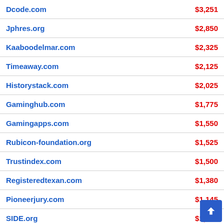| Domain | Price |
| --- | --- |
| Dcode.com | $3,251 |
| Jphres.org | $2,850 |
| Kaaboodelmar.com | $2,325 |
| Timeaway.com | $2,125 |
| Historystack.com | $2,025 |
| Gaminghub.com | $1,775 |
| Gamingapps.com | $1,550 |
| Rubicon-foundation.org | $1,525 |
| Trustindex.com | $1,500 |
| Registeredtexan.com | $1,380 |
| Pioneerjury.com | $1,145 |
| SIDE.org | $1,075 |
| Mimesislaw.com | $1,075 |
| 6OO.com | $1,050 |